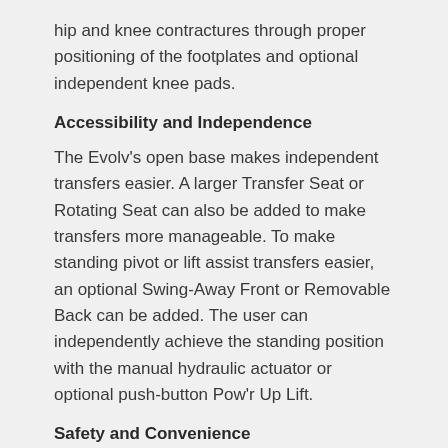hip and knee contractures through proper positioning of the footplates and optional independent knee pads.
Accessibility and Independence
The Evolv's open base makes independent transfers easier. A larger Transfer Seat or Rotating Seat can also be added to make transfers more manageable. To make standing pivot or lift assist transfers easier, an optional Swing-Away Front or Removable Back can be added. The user can independently achieve the standing position with the manual hydraulic actuator or optional push-button Pow'r Up Lift.
Safety and Convenience
The Evolv standing frame provides a safe and supportive transition to standing. It allows the user to stand in three